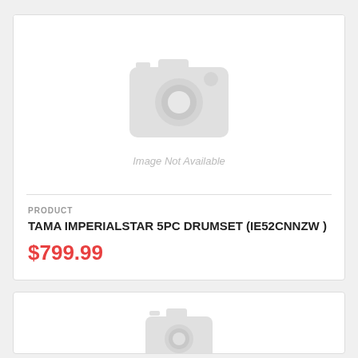[Figure (other): Placeholder camera icon with 'Image Not Available' text]
PRODUCT
TAMA IMPERIALSTAR 5PC DRUMSET (IE52CNNZW )
$799.99
[Figure (other): Second product card with partial camera placeholder icon visible]